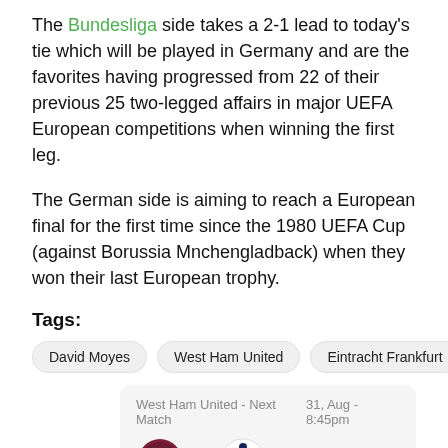The Bundesliga side takes a 2-1 lead to today's tie which will be played in Germany and are the favorites having progressed from 22 of their previous 25 two-legged affairs in major UEFA European competitions when winning the first leg.
The German side is aiming to reach a European final for the first time since the 1980 UEFA Cup (against Borussia Mnchengladback) when they won their last European trophy.
Tags:
David Moyes
West Ham United
Eintracht Frankfurt
| West Ham United - Next Match | 31, Aug - 8:45pm |
| --- | --- |
| [West Ham badge] vs [Tottenham badge] | Go to Event |